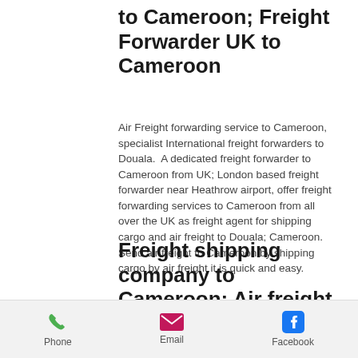to Cameroon; Freight Forwarder UK to Cameroon
Air Freight forwarding service to Cameroon, specialist International freight forwarders to Douala.  A dedicated freight forwarder to Cameroon from UK; London based freight forwarder near Heathrow airport, offer freight forwarding services to Cameroon from all over the UK as freight agent for shipping cargo and air freight to Douala; Cameroon.  Send air freight to Cameroon by shipping cargo by air freight it is quick and easy.
Freight shipping company to Cameroon; Air freight forwarders in UK
[Figure (infographic): Footer bar with three contact icons and labels: a green phone icon labeled 'Phone', a magenta email/envelope icon labeled 'Email', and a blue Facebook icon labeled 'Facebook'.]